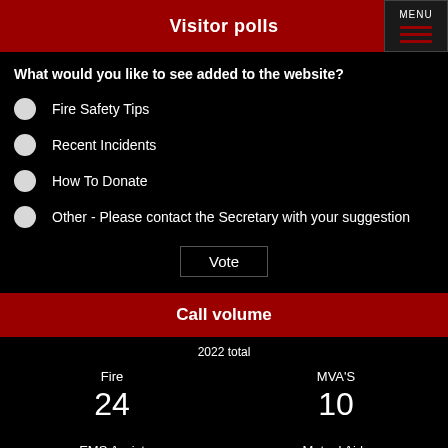Visitor polls
What would you like to see added to the website?
Fire Safety Tips
Recent Incidents
How To Donate
Other - Please contact the Secretary with your suggestion
Vote
Call volume
2022 total
Fire
24
MVA'S
10
EMS Assist
6
Mutual Aids
7